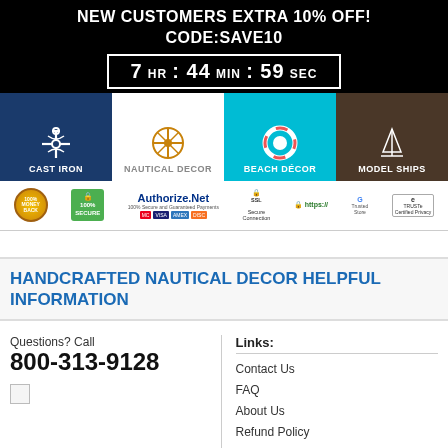NEW CUSTOMERS EXTRA 10% OFF!
CODE:SAVE10
7 HR : 44 MIN : 59 SEC
[Figure (infographic): Navigation bar with four category icons: Cast Iron (anchor on navy blue), Nautical Decor (ship's wheel on white), Beach Decor (life preserver on teal), Model Ships (sailboat on dark brown)]
[Figure (infographic): Trust badges row: 100% Money Back guarantee, 100% Secure badge, Authorize.Net 100% Secure and Guaranteed Payments with Mastercard/Visa/AmEx/Discover logos, SSL Secure Connection, https://, Google Trusted Store, TRUSTe Certified Privacy]
HANDCRAFTED NAUTICAL DECOR HELPFUL INFORMATION
Questions? Call
800-313-9128
Links:
Contact Us
FAQ
About Us
Refund Policy
Become a Dealer
Privacy / Terms of Use